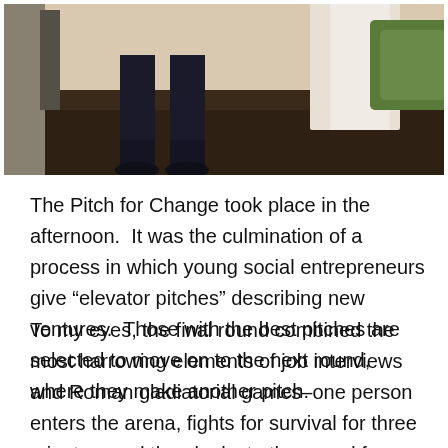[Figure (photo): Photo showing the lower half of a person's body in dark clothing standing on a shiny wooden floor, with white curtains and greenery in the background.]
The Pitch for Change took place in the afternoon.  It was the culmination of a process in which young social entrepreneurs give “elevator pitches” describing new ventures.  Those with the best pitches are selected to move on to the next round, where they make another pitch.
To my eyes, the final round combined the most harrowing elements of job interviews and Roman gladiatorial games–one person enters the arena, fights for survival for three minutes, and then looks to the crowd for thumbs up or down (see the picture at the top of this entry). Of course, the rules are that...